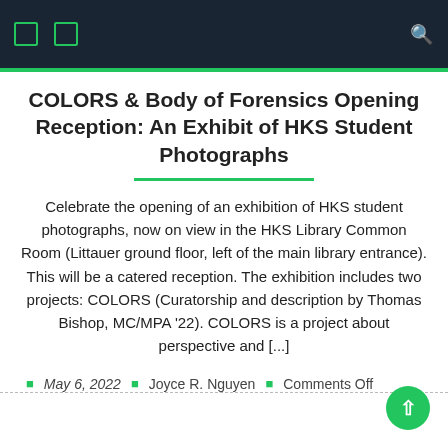Navigation bar with icons and search
COLORS & Body of Forensics Opening Reception: An Exhibit of HKS Student Photographs
Celebrate the opening of an exhibition of HKS student photographs, now on view in the HKS Library Common Room (Littauer ground floor, left of the main library entrance). This will be a catered reception. The exhibition includes two projects: COLORS (Curatorship and description by Thomas Bishop, MC/MPA '22). COLORS is a project about perspective and [...]
May 6, 2022  Joyce R. Nguyen  Comments Off